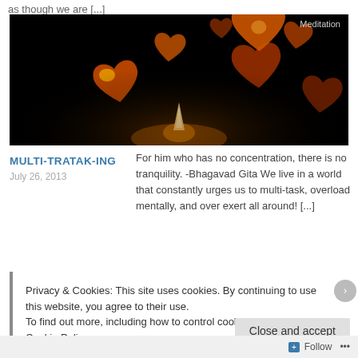as though we are [...]
[Figure (photo): Dark background with bokeh heart shapes in orange and golden tones, with a candle flame visible at the bottom center. Label 'Meditation' in top right corner.]
MULTI-TRATAK-ING
July 26, 2013
For him who has no concentration, there is no tranquility. -Bhagavad Gita We live in a world that constantly urges us to multi-task, overload mentally, and over exert all around! [...]
Privacy & Cookies: This site uses cookies. By continuing to use this website, you agree to their use.
To find out more, including how to control cookies, see here: Cookie Policy
Close and accept
Follow